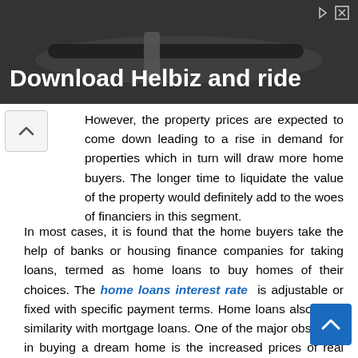[Figure (photo): Advertisement banner showing a scooter handlebar with text 'Download Helbiz and ride' on dark background]
However, the property prices are expected to come down leading to a rise in demand for properties which in turn will draw more home buyers. The longer time to liquidate the value of the property would definitely add to the woes of financiers in this segment.
In most cases, it is found that the home buyers take the help of banks or housing finance companies for taking loans, termed as home loans to buy homes of their choices. The home loans interest rate is adjustable or fixed with specific payment terms. Home loans also have similarity with mortgage loans. One of the major obstacles in buying a dream home is the increased prices of real estate properties in the recent times. The home buyer may not have enough funds to afford the purchase or even to make the down payment for his desired home. In such cases, various premium banks come at the rescue. They offer an appropriate home loan to suit the